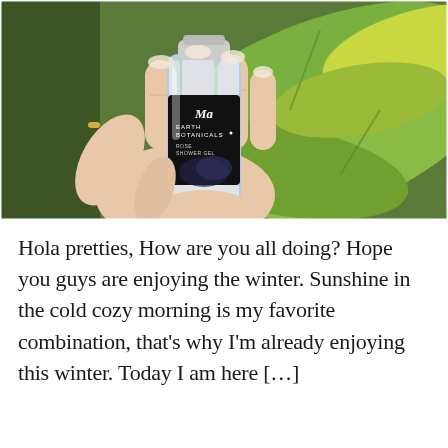[Figure (photo): A hand holding a small glass bottle of Ma Earth Botanicals Rose Shower Gel against a background of green tropical leaves.]
Hola pretties, How are you all doing? Hope you guys are enjoying the winter. Sunshine in the cold cozy morning is my favorite combination, that's why I'm already enjoying this winter. Today I am here […]